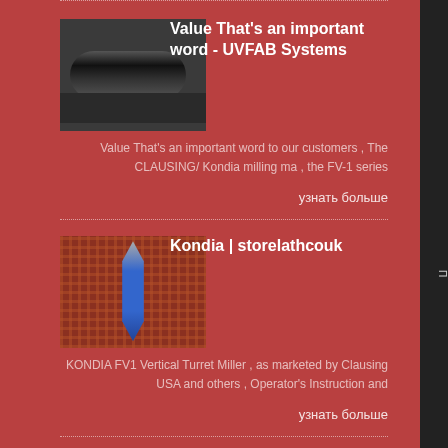[Figure (photo): Photo of a cylindrical black pipe/tube component on a dark background]
Value That's an important word - UVFAB Systems
Value That's an important word to our customers , The CLAUSING/ Kondia milling ma , the FV-1 series
узнать больше
[Figure (photo): Photo of a blue probe/tool over a red grid/mesh surface]
Kondia | storelathcouk
KONDIA FV1 Vertical Turret Miller , as marketed by Clausing USA and others , Operator's Instruction and
узнать больше
[Figure (photo): Photo of a yellow/gold colored circuit board or panel with holes]